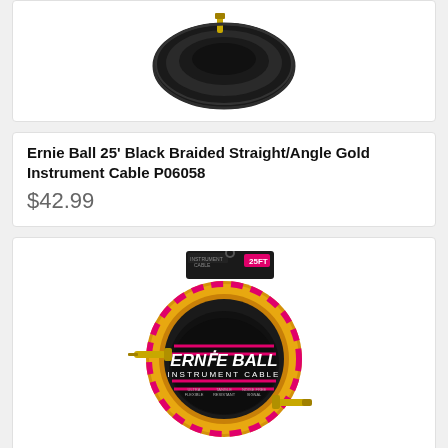[Figure (photo): Ernie Ball 25ft Black Braided Straight/Angle Gold Instrument Cable coiled, partially visible at top of page]
Ernie Ball 25' Black Braided Straight/Angle Gold Instrument Cable P06058
$42.99
[Figure (photo): Ernie Ball 25ft Gold Braided Straight/Angle Instrument Cable P06070 coiled with gold plugs on packaging]
Ernie Ball 25' Gold Braided Straight/Angle Instrument Cable P06070